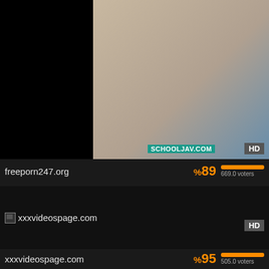[Figure (screenshot): Video thumbnail showing figures on a bed, with SCHOOLJAV.COM watermark and HD badge]
freeporn247.org
%89
669.0 voters
[Figure (screenshot): Broken image placeholder for xxxvideospage.com thumbnail with HD badge]
xxxvideospage.com
%89
xxxvideospage.com
%95
505.0 voters